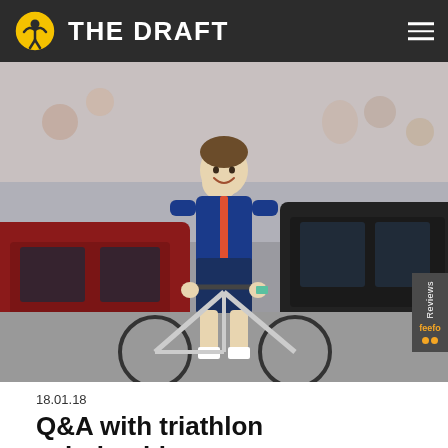THE DRAFT
[Figure (photo): A female triathlete in a blue and red/orange trisuit smiling and posing with a road/tri bike in a busy street setting, with cars and people visible in the background.]
18.01.18
Q&A with triathlon scholarship